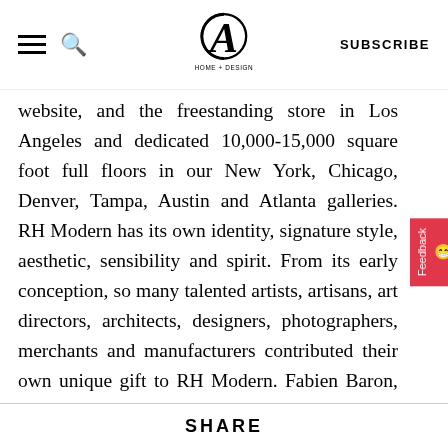CA HOME + DESIGN | SUBSCRIBE
website, and the freestanding store in Los Angeles and dedicated 10,000-15,000 square foot full floors in our New York, Chicago, Denver, Tampa, Austin and Atlanta galleries. RH Modern has its own identity, signature style, aesthetic, sensibility and spirit. From its early conception, so many talented artists, artisans, art directors, architects, designers, photographers, merchants and manufacturers contributed their own unique gift to RH Modern. Fabien Baron, specifically, helped us create a revolutionary voice for our brand across our Source Book, website and advertising campaign.
SHARE